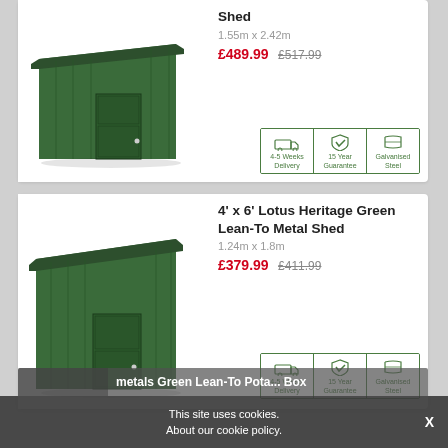[Figure (photo): Green lean-to metal shed product image (partial, top card)]
Shed
1.55m x 2.42m
£489.99  £517.99
[Figure (infographic): Product badges: 4-5 Weeks Delivery, 15 Year Guarantee, Galvanised Steel]
4' x 6' Lotus Heritage Green Lean-To Metal Shed
1.24m x 1.8m
£379.99  £411.99
[Figure (photo): Green lean-to metal shed product image (second card)]
[Figure (infographic): Product badges: 4-5 Weeks Delivery, 15 Year Guarantee, Galvanised Steel]
This site uses cookies. About our cookie policy.
metals Green Lean-To Pote... Box